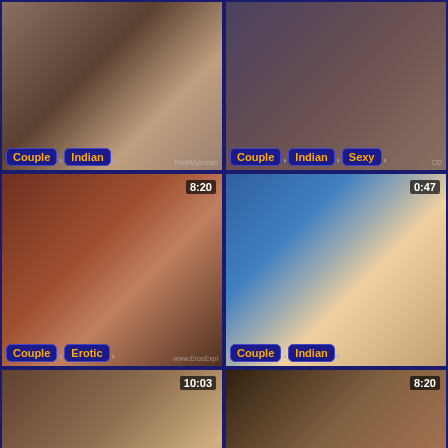[Figure (screenshot): Video thumbnail grid showing 8 video thumbnails with tags and durations]
Couple , Indian , [FuckMyIndian watermark]
Couple , Indian , Sexy ,
Couple , Erotic , [www.ErosExpl watermark] 8:20
Couple , Indian , 0:47
Couple , [HotIndianCoup watermark] 10:03
Beautiful , Couple , Indian , [www.ErosExpl watermark] 8:20
1:02
10:03